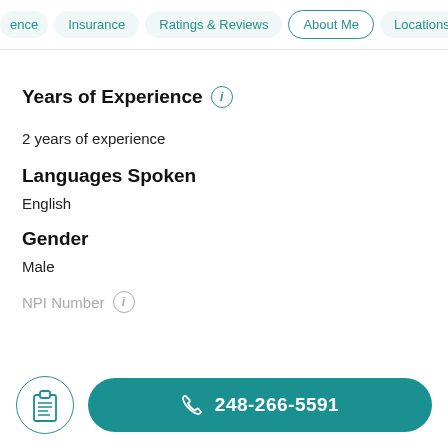ence  Insurance  Ratings & Reviews  About Me  Locations
Years of Experience
2 years of experience
Languages Spoken
English
Gender
Male
NPI Number
248-266-5591